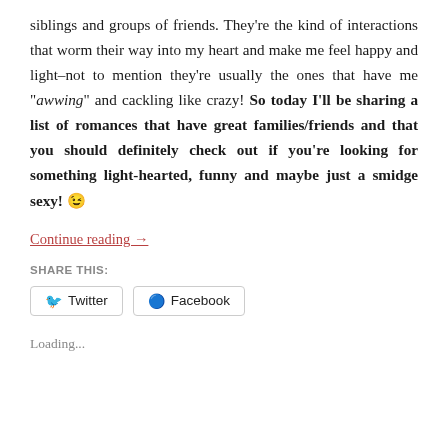siblings and groups of friends. They're the kind of interactions that worm their way into my heart and make me feel happy and light–not to mention they're usually the ones that have me "awwing" and cackling like crazy! So today I'll be sharing a list of romances that have great families/friends and that you should definitely check out if you're looking for something light-hearted, funny and maybe just a smidge sexy! 😉
Continue reading →
SHARE THIS:
Twitter  Facebook
Loading...